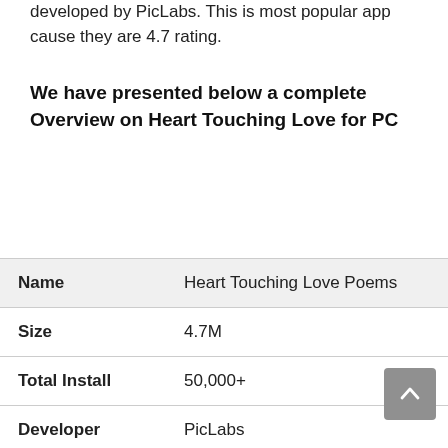developed by PicLabs. This is most popular app cause they are 4.7 rating.
We have presented below a complete Overview on Heart Touching Love for PC
| Name | Heart Touching Love Poems |
| --- | --- |
| Size | 4.7M |
| Total Install | 50,000+ |
| Developer | PicLabs |